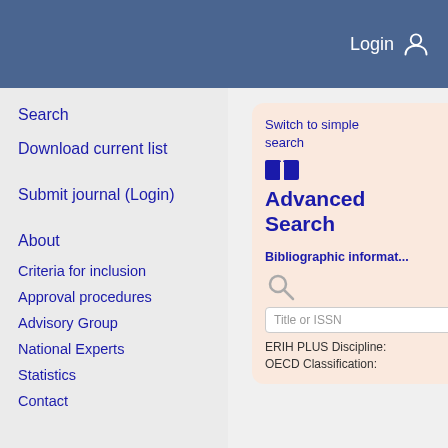Login
Search
Download current list
Submit journal (Login)
About
Criteria for inclusion
Approval procedures
Advisory Group
National Experts
Statistics
Contact
Switch to simple search
Advanced Search
Bibliographic information
Title or ISSN
ERIH PLUS Discipline:
OECD Classification: